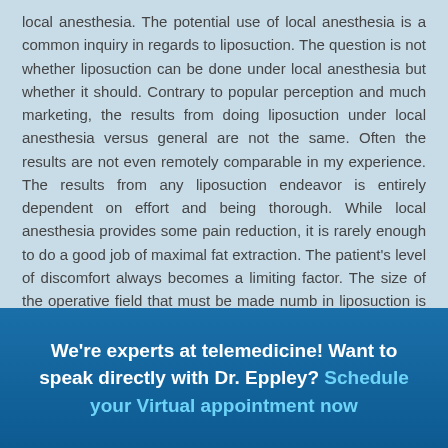local anesthesia. The potential use of local anesthesia is a common inquiry in regards to liposuction. The question is not whether liposuction can be done under local anesthesia but whether it should. Contrary to popular perception and much marketing, the results from doing liposuction under local anesthesia versus general are not the same. Often the results are not even remotely comparable in my experience. The results from any liposuction endeavor is entirely dependent on effort and being thorough. While local anesthesia provides some pain reduction, it is rarely enough to do a good job of maximal fat extraction. The patient's level of discomfort always becomes a limiting factor. The size of the operative field that must be made numb in liposuction is quite different than that of just a small surgical incision.
I honor patient's requests to do liposuction under local anesthesia
We're experts at telemedicine! Want to speak directly with Dr. Eppley? Schedule your Virtual appointment now